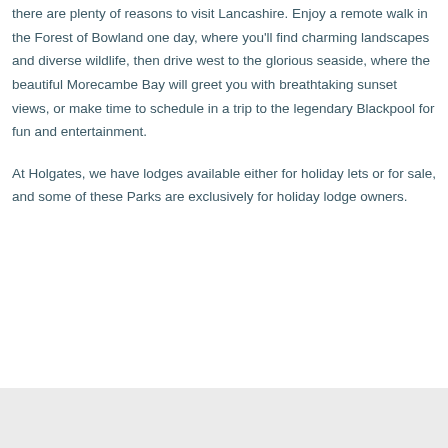there are plenty of reasons to visit Lancashire. Enjoy a remote walk in the Forest of Bowland one day, where you'll find charming landscapes and diverse wildlife, then drive west to the glorious seaside, where the beautiful Morecambe Bay will greet you with breathtaking sunset views, or make time to schedule in a trip to the legendary Blackpool for fun and entertainment.
At Holgates, we have lodges available either for holiday lets or for sale, and some of these Parks are exclusively for holiday lodge owners.